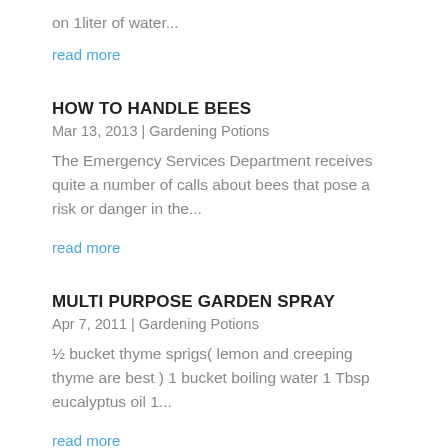on 1liter of water...
read more
HOW TO HANDLE BEES
Mar 13, 2013 | Gardening Potions
The Emergency Services Department receives quite a number of calls about bees that pose a risk or danger in the...
read more
MULTI PURPOSE GARDEN SPRAY
Apr 7, 2011 | Gardening Potions
½ bucket thyme sprigs( lemon and creeping thyme are best ) 1 bucket boiling water 1 Tbsp eucalyptus oil 1...
read more